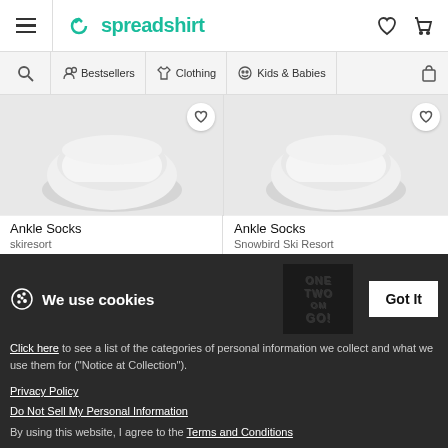spreadshirt — navigation header with menu, logo, wishlist, cart
[Figure (screenshot): Navigation bar with search, Bestsellers, Clothing, Kids & Babies, bag icon]
[Figure (photo): Ankle Socks product image — white socks on grey background, left product]
Ankle Socks
skiResort
$14.99
Customizable
[Figure (photo): Ankle Socks product image — white socks on grey background, right product]
Ankle Socks
Snowbird Ski Resort
$14.99
Customizable
[Figure (photo): Partial product images in second row, two socks products partially visible]
We use cookies
Click here to see a list of the categories of personal information we collect and what we use them for ("Notice at Collection").
Privacy Policy
Do Not Sell My Personal Information
By using this website, I agree to the Terms and Conditions